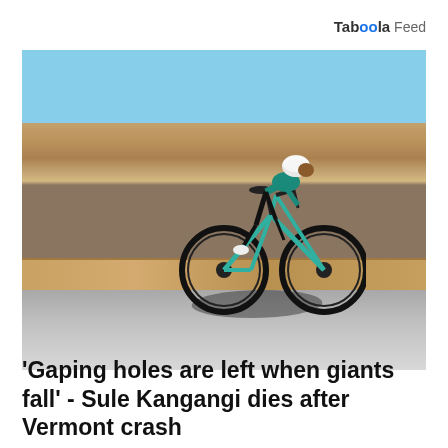Taboola Feed
[Figure (photo): A cyclist in teal/turquoise gear and white helmet riding a teal road bike on an open road, with a desert cliff and rocky landscape in the background under a clear blue sky. The rider casts a strong shadow on the grey road surface.]
'Gaping holes are left when giants fall' - Sule Kangangi dies after Vermont crash